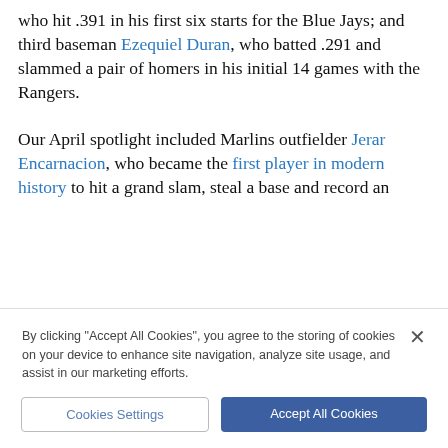who hit .391 in his first six starts for the Blue Jays; and third baseman Ezequiel Duran, who batted .291 and slammed a pair of homers in his initial 14 games with the Rangers.
Our April spotlight included Marlins outfielder Jerar Encarnacion, who became the first player in modern history to hit a grand slam, steal a base and record an
By clicking "Accept All Cookies", you agree to the storing of cookies on your device to enhance site navigation, analyze site usage, and assist in our marketing efforts.